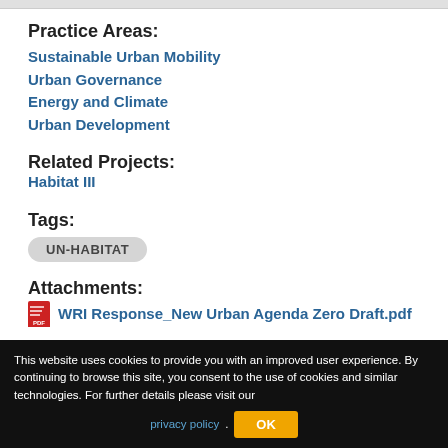Practice Areas:
Sustainable Urban Mobility
Urban Governance
Energy and Climate
Urban Development
Related Projects:
Habitat III
Tags:
UN-HABITAT
Attachments:
WRI Response_New Urban Agenda Zero Draft.pdf
This website uses cookies to provide you with an improved user experience. By continuing to browse this site, you consent to the use of cookies and similar technologies. For further details please visit our privacy policy.